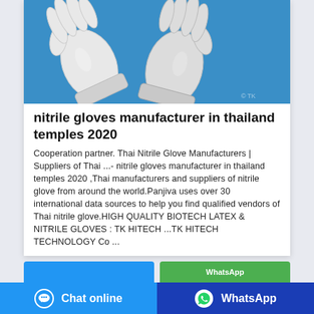[Figure (photo): Two white nitrile/latex gloves laid flat on a blue background]
nitrile gloves manufacturer in thailand temples 2020
Cooperation partner. Thai Nitrile Glove Manufacturers | Suppliers of Thai ...- nitrile gloves manufacturer in thailand temples 2020 ,Thai manufacturers and suppliers of nitrile glove from around the world.Panjiva uses over 30 international data sources to help you find qualified vendors of Thai nitrile glove.HIGH QUALITY BIOTECH LATEX & NITRILE GLOVES : TK HITECH ...TK HITECH TECHNOLOGY Co ...
[Figure (screenshot): Partially visible blue button on left and green WhatsApp button on right]
Chat online   WhatsApp